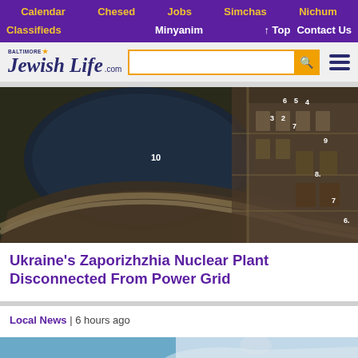Calendar  Chesed  Jobs  Simchas  Nichum
Classifieds  Minyanim  ↑ Top  Contact Us
[Figure (logo): Baltimore Jewish Life .com logo with search box and hamburger menu]
[Figure (photo): Aerial satellite view of Ukraine's Zaporizhzhia Nuclear Power Plant with numbered reactor units visible]
Ukraine's Zaporizhzhia Nuclear Plant Disconnected From Power Grid
Local News | 6 hours ago
[Figure (photo): Partial image strip at bottom of page for second article]